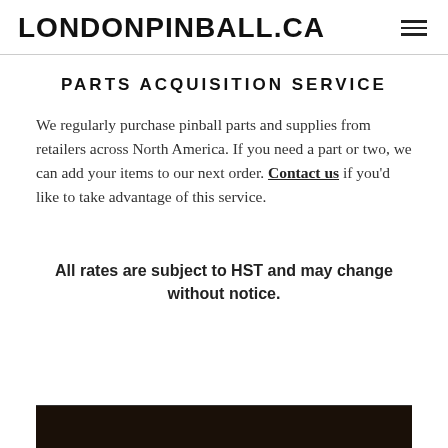LONDONPINBALL.CA
PARTS ACQUISITION SERVICE
We regularly purchase pinball parts and supplies from retailers across North America. If you need a part or two, we can add your items to our next order. Contact us if you'd like to take advantage of this service.
All rates are subject to HST and may change without notice.
[Figure (photo): Partial view of a pinball machine, dark toned image cropped at bottom of page]